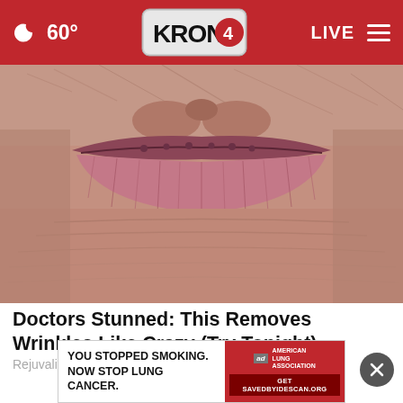60° KRON4 LIVE
[Figure (photo): Close-up macro photograph of aged, wrinkled lips and surrounding skin area]
Doctors Stunned: This Removes Wrinkles Like Crazy (Try Tonight)
Rejuvalift
[Figure (infographic): Advertisement banner: YOU STOPPED SMOKING. NOW STOP LUNG CANCER. American Lung Association. Get SAVEDBYIDESCAN.ORG]